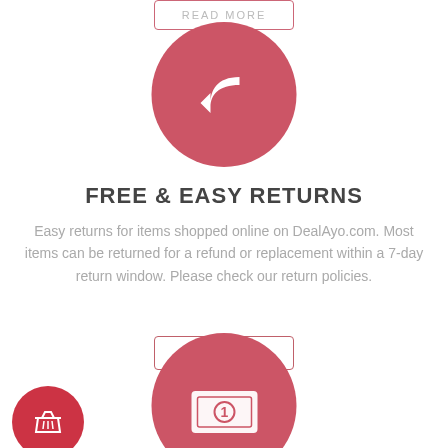[Figure (illustration): Red circle with white return/undo arrow icon centered on page]
FREE & EASY RETURNS
Easy returns for items shopped online on DealAyo.com. Most items can be returned for a refund or replacement within a 7-day return window. Please check our return policies.
[Figure (illustration): READ MORE button with pink border]
[Figure (illustration): Small red circle with basket icon at bottom left, large red circle with money/bill icon at bottom center]